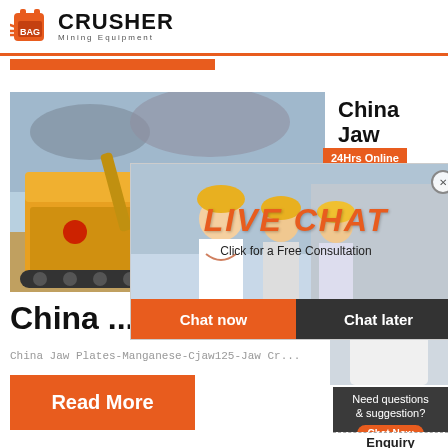[Figure (logo): Crusher Mining Equipment logo with red shopping bag icon and bold CRUSHER text]
[Figure (photo): Yellow jaw crusher machine on a job site with cloudy sky background]
China Jaw Plates
[Figure (photo): Live Chat overlay with workers in hard hats, LIVE CHAT text in red italic, Click for a Free Consultation subtitle, Chat now and Chat later buttons]
[Figure (photo): Customer service representative with headset, 24Hrs Online badge]
China ...
China Jaw Plates-Manganese-Cjaw125-Jaw Cr...
Read More
Need questions & suggestion?
Chat Now
Enquiry
limingjlmofen@sina.com